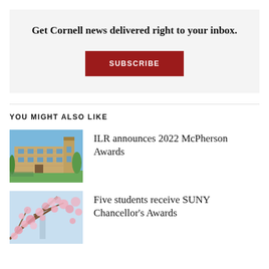Get Cornell news delivered right to your inbox.
SUBSCRIBE
YOU MIGHT ALSO LIKE
[Figure (photo): Photo of a stone university building with trees in spring]
ILR announces 2022 McPherson Awards
[Figure (photo): Photo of pink cherry blossom branches with a tower in the background]
Five students receive SUNY Chancellor's Awards